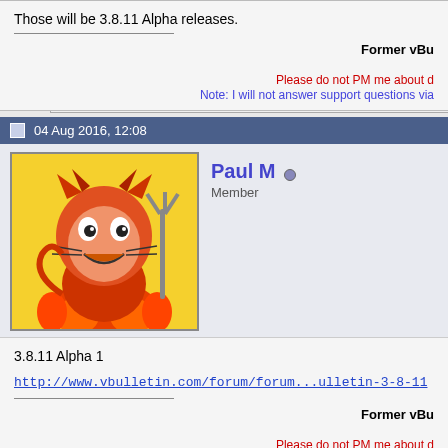Those will be 3.8.11 Alpha releases.
Former vBu
Please do not PM me about d
Note: I will not answer support questions via
04 Aug 2016, 12:08
Paul M Member
3.8.11 Alpha 1
http://www.vbulletin.com/forum/forum...ulletin-3-8-11
Former vBu
Please do not PM me about d
Note: I will not answer support questions via
The following members like this post: Masterix